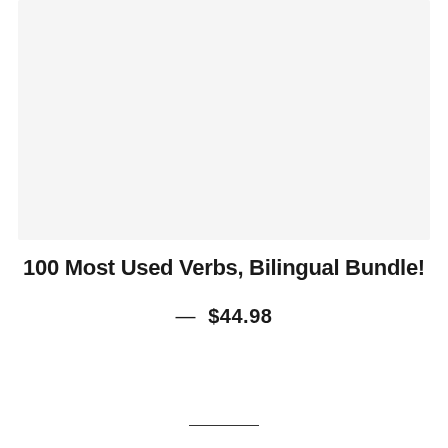[Figure (other): Large light gray rectangular image placeholder area]
100 Most Used Verbs, Bilingual Bundle!
— $44.98